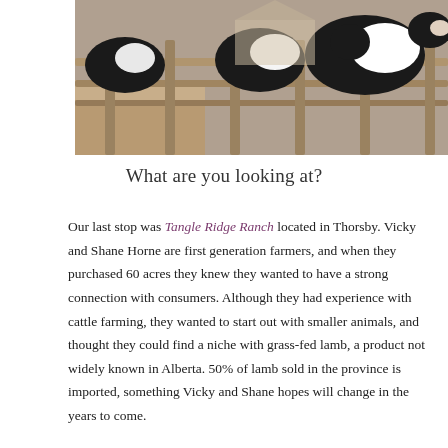[Figure (photo): Cattle standing behind wooden fence rails at a farm, black and white Holstein cows visible up close with dirt lot in background]
What are you looking at?
Our last stop was Tangle Ridge Ranch located in Thorsby. Vicky and Shane Horne are first generation farmers, and when they purchased 60 acres they knew they wanted to have a strong connection with consumers. Although they had experience with cattle farming, they wanted to start out with smaller animals, and thought they could find a niche with grass-fed lamb, a product not widely known in Alberta. 50% of lamb sold in the province is imported, something Vicky and Shane hopes will change in the years to come.